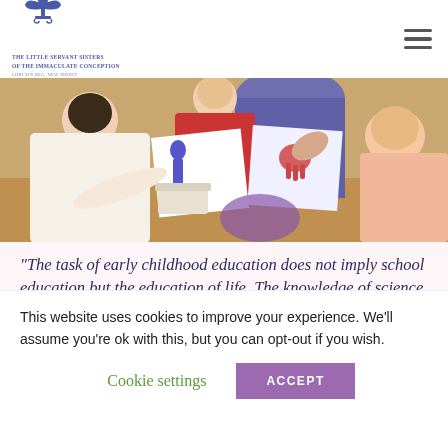The Little Servant Sisters of the Immaculate Conception
[Figure (photo): Children and an adult doing art activities at a table, painting with handprints on paper]
“The task of early childhood education does not imply school education but the education of life. The knowledge of science is not sufficient here. Children
This website uses cookies to improve your experience. We'll assume you're ok with this, but you can opt-out if you wish.
Cookie settings    ACCEPT